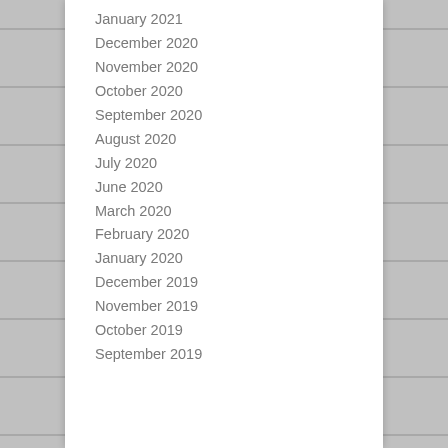January 2021
December 2020
November 2020
October 2020
September 2020
August 2020
July 2020
June 2020
March 2020
February 2020
January 2020
December 2019
November 2019
October 2019
September 2019